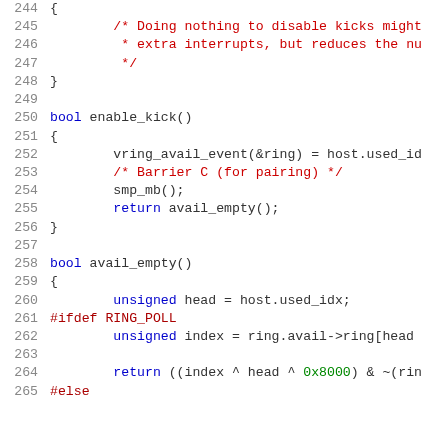Source code listing lines 244-265, C++ code showing disable_kick, enable_kick, and avail_empty functions